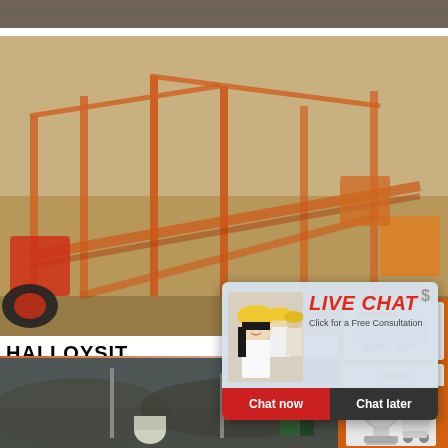[Figure (photo): Top strip of a mining site image partially visible at the top of the page]
[Figure (photo): Large outdoor mining/crushing plant facility with orange structural equipment, conveyor belts, and machinery on sandy terrain]
HALLOYSIT
2021-11-17
found in some b… mineral takes t… shape gives it unique properties and a wide var… beyond the more common kaolinite, particularly in…
...
[Figure (photo): Bottom partial image of another mining or industrial site with rocky terrain and machinery]
[Figure (screenshot): Live chat popup overlay with a woman in white shirt and yellow hard hat, 'LIVE CHAT' in red, 'Click for a Free Consultation' subtitle, and Chat now / Chat later buttons]
[Figure (infographic): Right orange sidebar with machine equipment photos, 'Enjoy 3% discount' yellow banner, 'Click to Chat' in yellow, and 'Enquiry' white text]